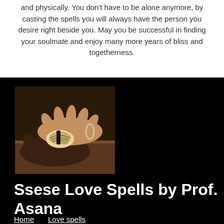and physically. You don't have to be alone anymore, by casting the spells you will always have the person you desire right beside you. May you be successful in finding your soulmate and enjoy many more years of bliss and togetherness.
[Figure (photo): Two pairs of hands (dark and light skinned) holding decorative shells or ritual objects on a wooden surface]
Ssese Love Spells by Prof. Asana
Home   Love spells
powerful voodoo Love spell caster   Money spells
Traditional healer   Contact us   Lottery spells